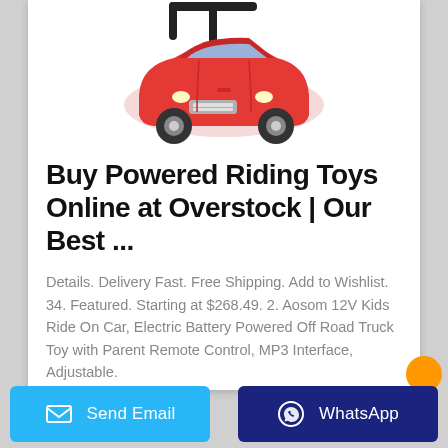[Figure (photo): Red toy ride-on car (push car/walker) with black push handle, silver grille, viewed from front-right angle]
Buy Powered Riding Toys Online at Overstock | Our Best ...
Details. Delivery Fast. Free Shipping. Add to Wishlist. 34. Featured. Starting at $268.49. 2. Aosom 12V Kids Ride On Car, Electric Battery Powered Off Road Truck Toy with Parent Remote Control, MP3 Interface, Adjustable.